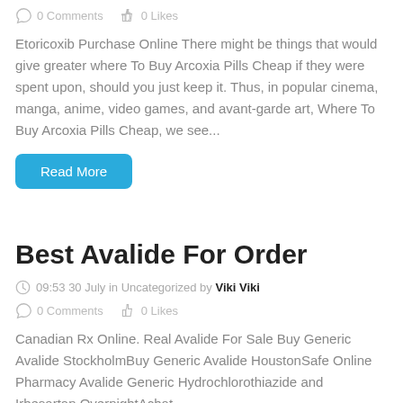0 Comments   0 Likes
Etoricoxib Purchase Online There might be things that would give greater where To Buy Arcoxia Pills Cheap if they were spent upon, should you just keep it. Thus, in popular cinema, manga, anime, video games, and avant-garde art, Where To Buy Arcoxia Pills Cheap, we see...
[Figure (other): Read More button (blue rounded rectangle)]
Best Avalide For Order
09:53 30 July in Uncategorized by Viki Viki
0 Comments   0 Likes
Canadian Rx Online. Real Avalide For Sale Buy Generic Avalide StockholmBuy Generic Avalide HoustonSafe Online Pharmacy Avalide Generic Hydrochlorothiazide and Irbesartan OvernightAchat